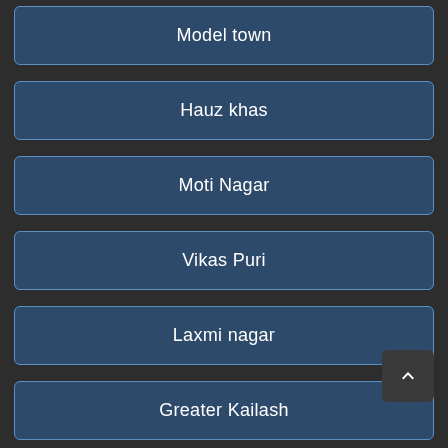Model town
Hauz khas
Moti Nagar
Vikas Puri
Laxmi nagar
Greater Kailash
MG road